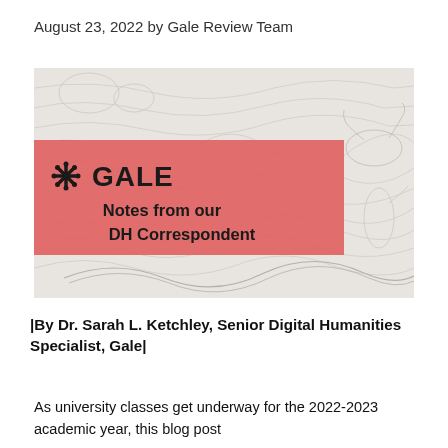August 23, 2022 by Gale Review Team
[Figure (illustration): A decorative banner image with a historical etching background (fantastical sea creatures, monsters, ships) overlaid with a coral/salmon-colored rectangle containing the Gale logo (asterisk-style icon and GALE text in black) on the left, and bold black text reading 'Notes from our DH Correspondent' on the right portion of the rectangle.]
|By Dr. Sarah L. Ketchley, Senior Digital Humanities Specialist, Gale|
As university classes get underway for the 2022-2023 academic year, this blog post